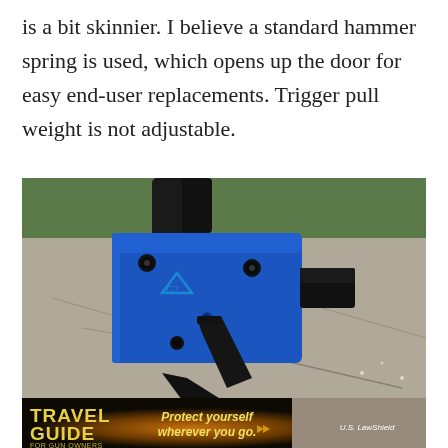is a bit skinnier. I believe a standard hammer spring is used, which opens up the door for easy end-user replacements. Trigger pull weight is not adjustable.
[Figure (photo): Close-up photo of a blue anodized aluminum firearm trigger housing/module with black trigger blade, sitting on a concrete or stone surface with green foliage in background.]
[Figure (photo): Advertisement banner: Travel Guide for Gun Owners - 'Protect yourself wherever you go.' with U.S. LawShield branding, dark background with orange/gold tones.]